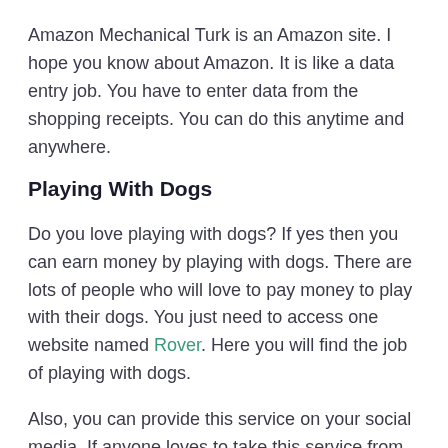Amazon Mechanical Turk is an Amazon site. I hope you know about Amazon. It is like a data entry job. You have to enter data from the shopping receipts. You can do this anytime and anywhere.
Playing With Dogs
Do you love playing with dogs? If yes then you can earn money by playing with dogs. There are lots of people who will love to pay money to play with their dogs. You just need to access one website named Rover. Here you will find the job of playing with dogs.
Also, you can provide this service on your social media. If anyone loves to take this service from you then they will contact you through your social media.